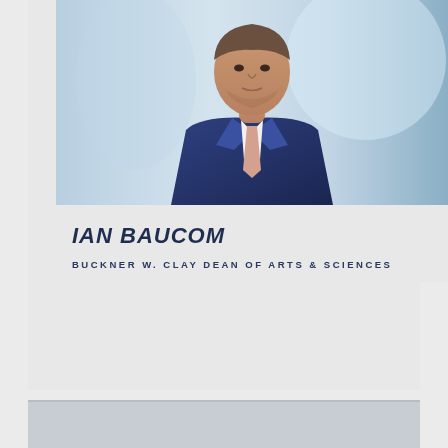[Figure (photo): Professional headshot of Ian Baucom, a man in a navy blue suit with a salmon/pink tie, white shirt, with light beard, photographed against a blurred blue background.]
IAN BAUCOM
BUCKNER W. CLAY DEAN OF ARTS & SCIENCES
[Figure (photo): Partial view of a second profile card at the bottom of the page, cut off.]